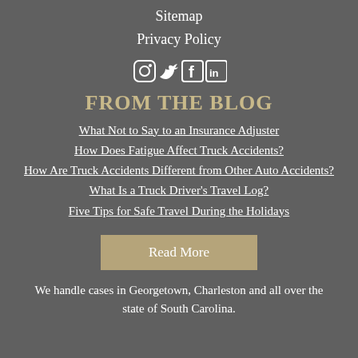Sitemap
Privacy Policy
[Figure (infographic): Social media icons: Instagram, Twitter, Facebook, LinkedIn]
FROM THE BLOG
What Not to Say to an Insurance Adjuster
How Does Fatigue Affect Truck Accidents?
How Are Truck Accidents Different from Other Auto Accidents?
What Is a Truck Driver's Travel Log?
Five Tips for Safe Travel During the Holidays
Read More
We handle cases in Georgetown, Charleston and all over the state of South Carolina.